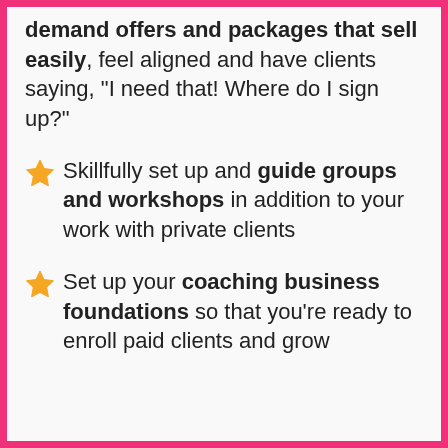demand offers and packages that sell easily, feel aligned and have clients saying, "I need that! Where do I sign up?"
Skillfully set up and guide groups and workshops in addition to your work with private clients
Set up your coaching business foundations so that you're ready to enroll paid clients and grow